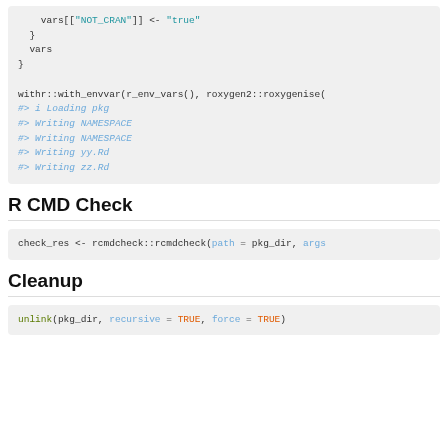[Figure (screenshot): R code block showing vars[["NOT_CRAN"]] <- "true", closing braces, vars, and output lines: #> i Loading pkg, #> Writing NAMESPACE (twice), #> Writing yy.Rd, #> Writing zz.Rd]
R CMD Check
[Figure (screenshot): R code block: check_res <- rcmdcheck::rcmdcheck(path = pkg_dir, args]
Cleanup
[Figure (screenshot): R code block: unlink(pkg_dir, recursive = TRUE, force = TRUE)]